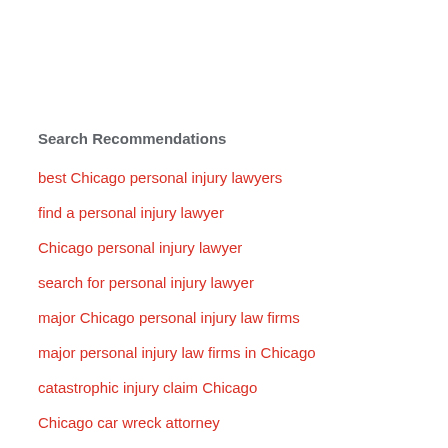Search Recommendations
best Chicago personal injury lawyers
find a personal injury lawyer
Chicago personal injury lawyer
search for personal injury lawyer
major Chicago personal injury law firms
major personal injury law firms in Chicago
catastrophic injury claim Chicago
Chicago car wreck attorney